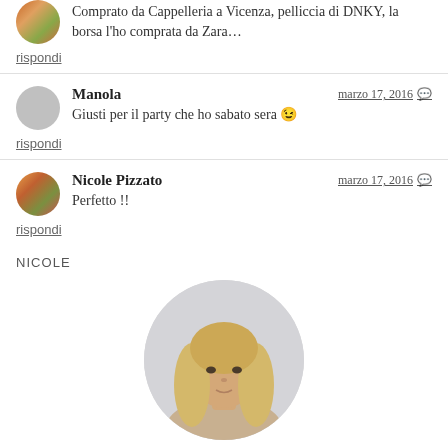Comprato da Cappelleria a Vicenza, pelliccia di DNKY, la borsa l'ho comprata da Zara…
rispondi
Manola — marzo 17, 2016 — Giusti per il party che ho sabato sera 😉
rispondi
Nicole Pizzato — marzo 17, 2016 — Perfetto !!
rispondi
NICOLE
[Figure (photo): Circular portrait photo of a blonde woman against a light gray background]